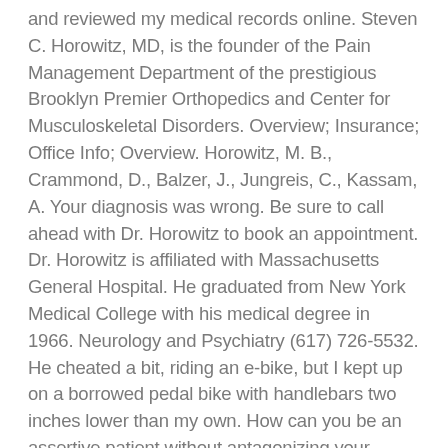and reviewed my medical records online. Steven C. Horowitz, MD, is the founder of the Pain Management Department of the prestigious Brooklyn Premier Orthopedics and Center for Musculoskeletal Disorders. Overview; Insurance; Office Info; Overview. Horowitz, M. B., Crammond, D., Balzer, J., Jungreis, C., Kassam, A. Your diagnosis was wrong. Be sure to call ahead with Dr. Horowitz to book an appointment. Dr. Horowitz is affiliated with Massachusetts General Hospital. He graduated from New York Medical College with his medical degree in 1966. Neurology and Psychiatry (617) 726-5532. He cheated a bit, riding an e-bike, but I kept up on a borrowed pedal bike with handlebars two inches lower than my own. How can you be an assertive patient without antagonizing your doctor? He is affiliated with many hospitals including Massachusetts General Hospital. Dr. Horowitz has two offices in Massachusetts where he specializes in